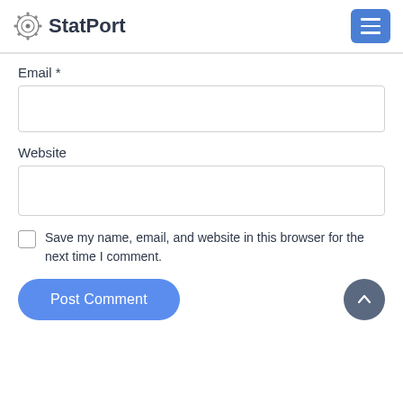StatPort
Email *
Website
Save my name, email, and website in this browser for the next time I comment.
Post Comment